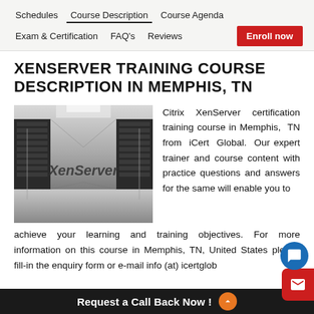Schedules  Course Description  Course Agenda  Exam & Certification  FAQ's  Reviews  Enroll now
XENSERVER TRAINING COURSE DESCRIPTION IN MEMPHIS, TN
[Figure (photo): Black and white photo of a server room hallway with 'XenServer' text overlay]
Citrix XenServer certification training course in Memphis, TN from iCert Global. Our expert trainer and course content with practice questions and answers for the same will enable you to achieve your learning and training objectives. For more information on this course in Memphis, TN, United States please fill-in the enquiry form or e-mail info (at) icertglob
Request a Call Back Now !